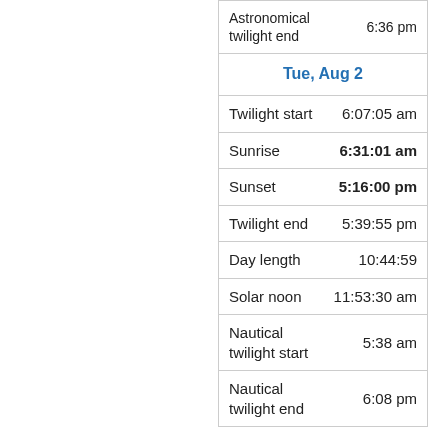| Astronomical twilight end | 6:36 pm |
| Tue, Aug 2 |  |
| Twilight start | 6:07:05 am |
| Sunrise | 6:31:01 am |
| Sunset | 5:16:00 pm |
| Twilight end | 5:39:55 pm |
| Day length | 10:44:59 |
| Solar noon | 11:53:30 am |
| Nautical twilight start | 5:38 am |
| Nautical twilight end | 6:08 pm |